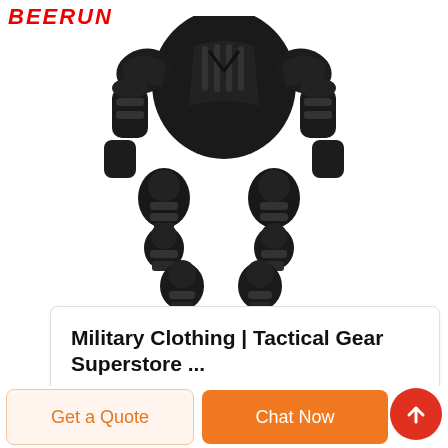[Figure (photo): Black tactical body armor/protective gear set including chest plate, shoulder guards, elbow pads, and knee pads. BEERUN brand logo visible at top left in red italic text.]
Military Clothing | Tactical Gear Superstore ...
Get a Quote
Chat Now